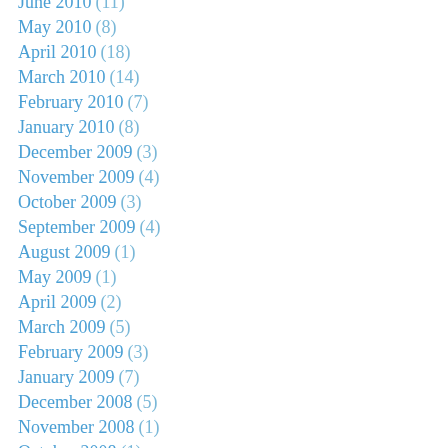June 2010 (11)
May 2010 (8)
April 2010 (18)
March 2010 (14)
February 2010 (7)
January 2010 (8)
December 2009 (3)
November 2009 (4)
October 2009 (3)
September 2009 (4)
August 2009 (1)
May 2009 (1)
April 2009 (2)
March 2009 (5)
February 2009 (3)
January 2009 (7)
December 2008 (5)
November 2008 (1)
October 2008 (1)
September 2008 (7)